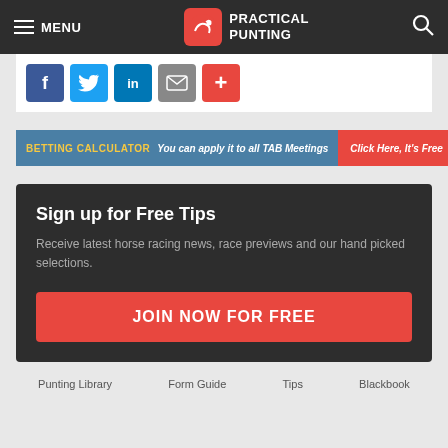MENU | PRACTICAL PUNTING
[Figure (infographic): Social share icons: Facebook, Twitter, LinkedIn, Email, Plus]
BETTING CALCULATOR You can apply it to all TAB Meetings Click Here, It's Free
Sign up for Free Tips
Receive latest horse racing news, race previews and our hand picked selections.
JOIN NOW FOR FREE
Punting Library  Form Guide  Tips  Blackbook